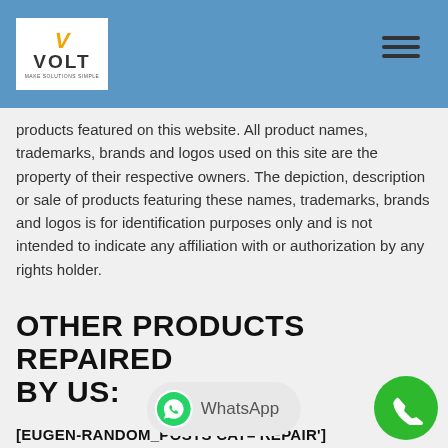[Figure (logo): VOLT logo in white box on blue header bar]
products featured on this website. All product names, trademarks, brands and logos used on this site are the property of their respective owners. The depiction, description or sale of products featuring these names, trademarks, brands and logos is for identification purposes only and is not intended to indicate any affiliation with or authorization by any rights holder.
OTHER PRODUCTS REPAIRED BY US:
[EUGEN-RANDOM_POSTS CAT='REPAIR']